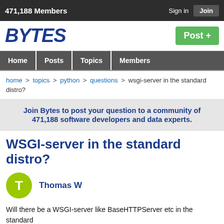471,188 Members  Sign in  Join
[Figure (logo): BYTES logo in bold blue italic text]
Post +
Home  Posts  Topics  Members
home > topics > python > questions > wsgi-server in the standard distro?
Join Bytes to post your question to a community of 471,188 software developers and data experts.
WSGI-server in the standard distro?
Thomas W
Will there be a WSGI-server like BaseHTTPServer etc in the standard